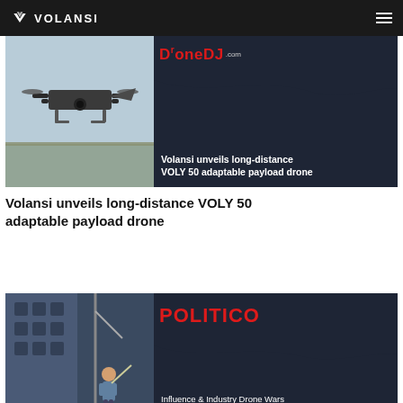VOLANSI
[Figure (screenshot): DroneDJ article card: drone flying in sky on left, DroneDJ.com logo and article title on dark navy right panel. Title: Volansi unveils long-distance VOLY 50 adaptable payload drone]
Volansi unveils long-distance VOLY 50 adaptable payload drone
[Figure (screenshot): Politico article card: worker near industrial equipment on left, POLITICO logo on dark navy right panel. Title: Influence & Industry Drone Wars]